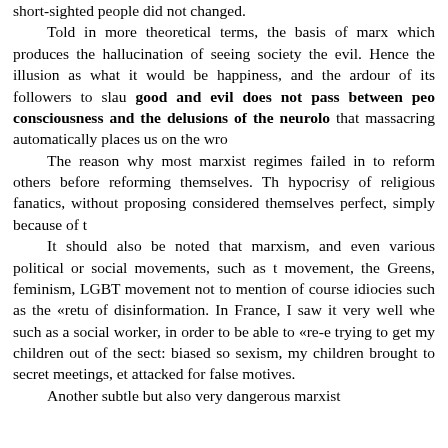short-sighted people did not changed. Told in more theoretical terms, the basis of marx which produces the hallucination of seeing society the evil. Hence the illusion as what it would be happiness, and the ardour of its followers to slau good and evil does not pass between peo consciousness and the delusions of the neurolo that massacring automatically places us on the wro The reason why most marxist regimes failed in to reform others before reforming themselves. Th hypocrisy of religious fanatics, without proposing considered themselves perfect, simply because of t It should also be noted that marxism, and even various political or social movements, such as t movement, the Greens, feminism, LGBT movement not to mention of course idiocies such as the «retu of disinformation. In France, I saw it very well whe such as a social worker, in order to be able to «re-e trying to get my children out of the sect: biased so sexism, my children brought to secret meetings, et attacked for false motives. Another subtle but also very dangerous marxist